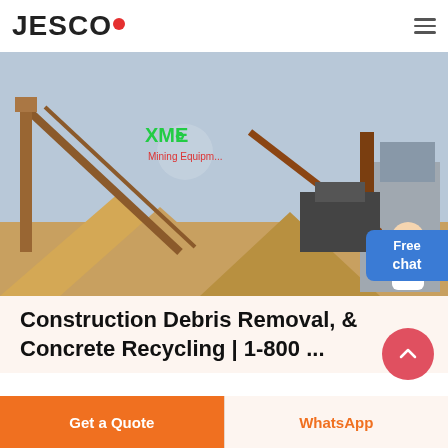JESCO
[Figure (photo): Industrial mining/crushing equipment facility with conveyor belts, orange steel structures, gravel piles, and XME Mining Equipment logo overlay. A customer service representative avatar appears in the top right corner with a 'Free chat' button.]
Construction Debris Removal, & Concrete Recycling | 1-800 ...
Get a Quote
WhatsApp